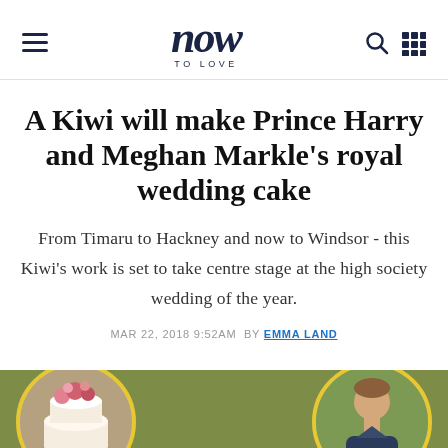now TO LOVE
A Kiwi will make Prince Harry and Meghan Markle's royal wedding cake
From Timaru to Hackney and now to Windsor - this Kiwi's work is set to take centre stage at the high society wedding of the year.
MAR 22, 2018 9:52AM  BY EMMA LAND
[Figure (photo): Two circular photos on an olive/green background: left circle shows a wedding cake with flowers, right circle shows a man (the cake maker).]